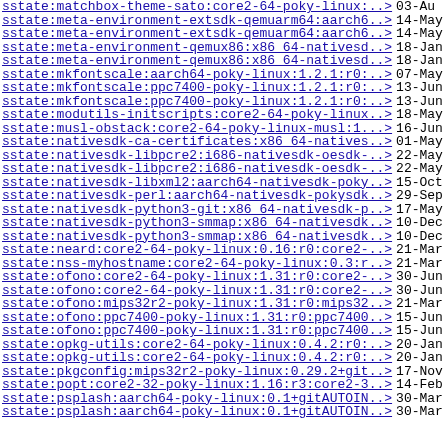sstate:matchbox-theme-sato:core2-64-poky-linux:..> 03-Au
sstate:meta-environment-extsdk-qemuarm64:aarch6..> 14-May
sstate:meta-environment-extsdk-qemuarm64:aarch6..> 14-May
sstate:meta-environment-qemux86:x86_64-nativesd..> 18-Jan
sstate:meta-environment-qemux86:x86_64-nativesd..> 18-Jan
sstate:mkfontscale:aarch64-poky-linux:1.2.1:r0:..> 07-May
sstate:mkfontscale:ppc7400-poky-linux:1.2.1:r0:..> 13-Jun
sstate:mkfontscale:ppc7400-poky-linux:1.2.1:r0:..> 13-Jun
sstate:modutils-initscripts:core2-64-poky-linux..> 18-May
sstate:musl-obstack:core2-64-poky-linux-musl:1...> 16-Jun
sstate:nativesdk-ca-certificates:x86_64-natives..> 01-May
sstate:nativesdk-libpcre2:i686-nativesdk-oesdk-..> 22-May
sstate:nativesdk-libpcre2:i686-nativesdk-oesdk-..> 22-May
sstate:nativesdk-libxml2:aarch64-nativesdk-poky..> 15-Oct
sstate:nativesdk-perl:aarch64-nativesdk-pokysdk..> 29-Sep
sstate:nativesdk-python3-git:x86_64-nativesdk-p..> 17-May
sstate:nativesdk-python3-smmap:x86_64-nativesdk..> 10-Dec
sstate:nativesdk-python3-smmap:x86_64-nativesdk..> 10-Dec
sstate:neard:core2-64-poky-linux:0.16:r0:core2-..> 21-Mar
sstate:nss-myhostname:core2-64-poky-linux:0.3:r..> 21-Mar
sstate:ofono:core2-64-poky-linux:1.31:r0:core2-..> 30-Jun
sstate:ofono:core2-64-poky-linux:1.31:r0:core2-..> 30-Jun
sstate:ofono:mips32r2-poky-linux:1.31:r0:mips32..> 21-Mar
sstate:ofono:ppc7400-poky-linux:1.31:r0:ppc7400..> 15-Jun
sstate:ofono:ppc7400-poky-linux:1.31:r0:ppc7400..> 15-Jun
sstate:opkg-utils:core2-64-poky-linux:0.4.2:r0:..> 20-Jan
sstate:opkg-utils:core2-64-poky-linux:0.4.2:r0:..> 20-Jan
sstate:pkgconfig:mips32r2-poky-linux:0.29.2+git..> 17-Nov
sstate:popt:core2-32-poky-linux:1.16:r3:core2-3..> 14-Feb
sstate:psplash:aarch64-poky-linux:0.1+gitAUTOIN..> 30-Mar
sstate:psplash:aarch64-poky-linux:0.1+gitAUTOIN..> 30-Mar